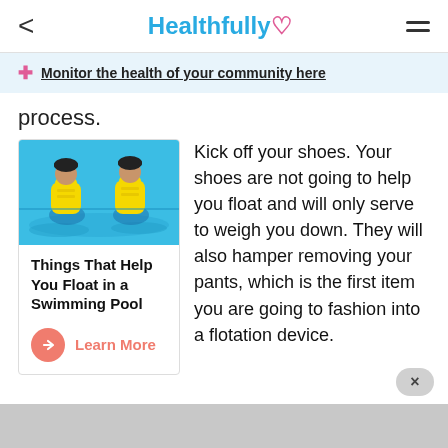Healthfully
Monitor the health of your community here
process.
[Figure (photo): Two children in yellow life vests floating in a swimming pool]
Things That Help You Float in a Swimming Pool
Learn More
Kick off your shoes. Your shoes are not going to help you float and will only serve to weigh you down. They will also hamper removing your pants, which is the first item you are going to fashion into a flotation device.